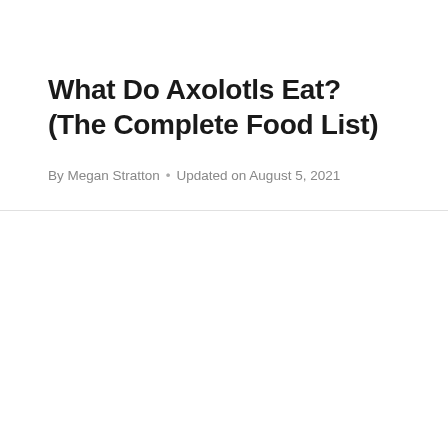What Do Axolotls Eat? (The Complete Food List)
By Megan Stratton • Updated on August 5, 2021